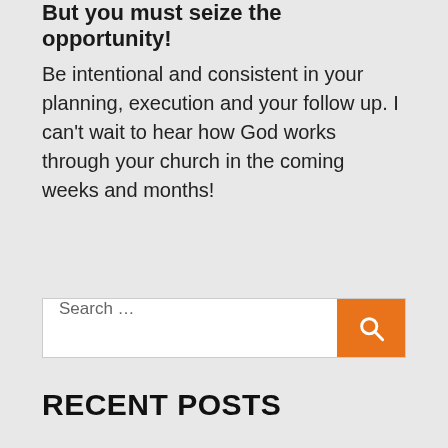But you must seize the opportunity!
Be intentional and consistent in your planning, execution and your follow up. I can't wait to hear how God works through your church in the coming weeks and months!
RECENT POSTS